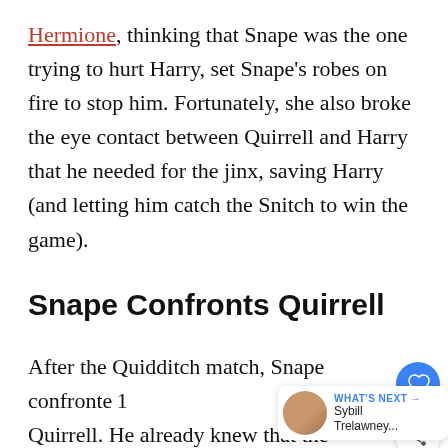Hermione, thinking that Snape was the one trying to hurt Harry, set Snape's robes on fire to stop him. Fortunately, she also broke the eye contact between Quirrell and Harry that he needed for the jinx, saving Harry (and letting him catch the Snitch to win the game).
Snape Confronts Quirrell
After the Quidditch match, Snape confronted Quirrell. He already knew that the teacher was after the Philosopher's Stone, he also saw that he had an interest in Harry. These both signaled a connection with the